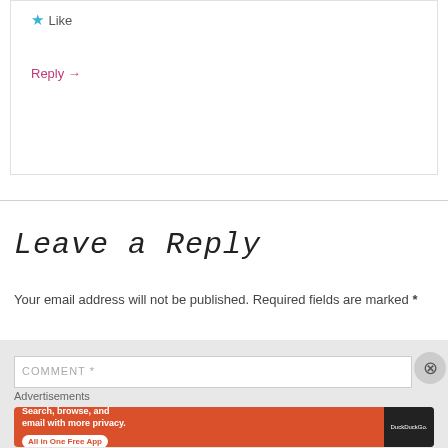★ Like
Reply →
Leave a Reply
Your email address will not be published. Required fields are marked *
COMMENT *
Advertisements
[Figure (infographic): DuckDuckGo advertisement banner: orange background with text 'Search, browse, and email with more privacy. All in One Free App' and a smartphone image with DuckDuckGo logo]